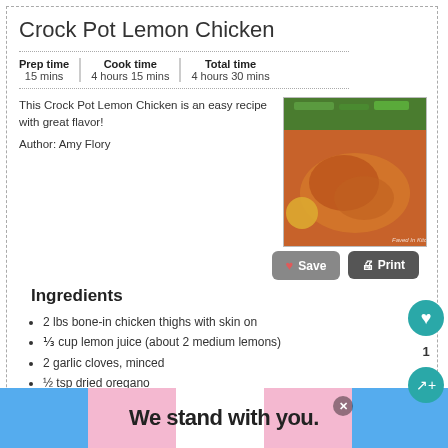Crock Pot Lemon Chicken
| Prep time | Cook time | Total time |
| --- | --- | --- |
| 15 mins | 4 hours 15 mins | 4 hours 30 mins |
This Crock Pot Lemon Chicken is an easy recipe with great flavor!
Author: Amy Flory
[Figure (photo): Photo of crock pot lemon chicken with green beans]
Ingredients
2 lbs bone-in chicken thighs with skin on
⅓ cup lemon juice (about 2 medium lemons)
2 garlic cloves, minced
½ tsp dried oregano
½ tsp sea salt
¼ tsp black pepper
2-3 tablespoons flour
½ cup heavy cream
lemon slices for garnish
Instructions
We stand with you.